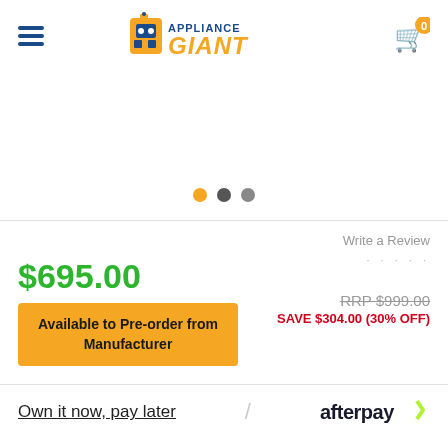Appliance Giant – navigation header with hamburger menu and cart
[Figure (other): Product image slider area showing three navigation dots (orange, dark gray, gray)]
Write a Review
· · · · ·
$695.00
RRP $999.00
SAVE $304.00 (30% OFF)
Available to Pre-order from Manufacturer
Own it now, pay later
[Figure (logo): Afterpay logo with stylized chevron]